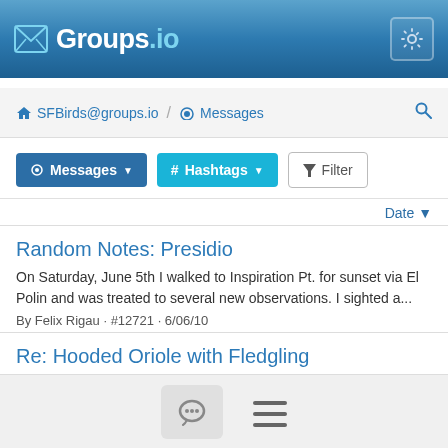Groups.io
SFBirds@groups.io / Messages
Messages  # Hashtags  Filter
Date
Random Notes: Presidio
On Saturday, June 5th I walked to Inspiration Pt. for sunset via El Polin and was treated to several new observations. I sighted a...
By Felix Rigau · #12721 · 6/06/10
Re: Hooded Oriole with Fledgling
Sorry to dampen your spirits, but that looks like a Brown-headed Cowbird chick to me. As per Jaramillo and Burke: "Juvenile...